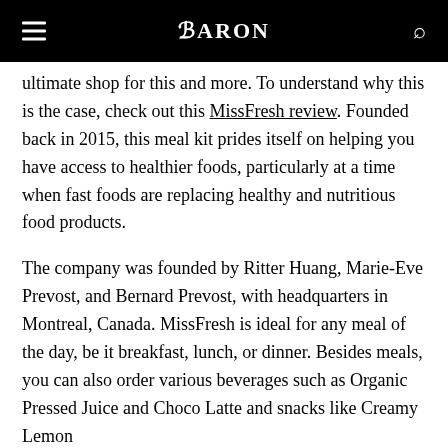BARON
ultimate shop for this and more. To understand why this is the case, check out this MissFresh review. Founded back in 2015, this meal kit prides itself on helping you have access to healthier foods, particularly at a time when fast foods are replacing healthy and nutritious food products.
The company was founded by Ritter Huang, Marie-Eve Prevost, and Bernard Prevost, with headquarters in Montreal, Canada. MissFresh is ideal for any meal of the day, be it breakfast, lunch, or dinner. Besides meals, you can also order various beverages such as Organic Pressed Juice and Choco Latte and snacks like Creamy Lemon